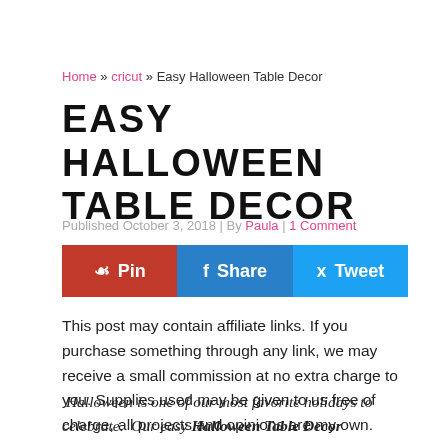Home » cricut » Easy Halloween Table Decor
EASY HALLOWEEN TABLE DECOR
Published October 3, 2018 | By Paula | 1 Comment
[Figure (infographic): Social sharing buttons: Pin (red/Pinterest), Share (blue/Facebook), Tweet (light blue/Twitter)]
This post may contain affiliate links. If you purchase something through any link, we may receive a small commission at no extra charge to you. Supplies used may be given to us free of charge, all projects and opinions are my own.
Halloween is one of our most favorite holidays to celebrate. Our easy Halloween Table Decor